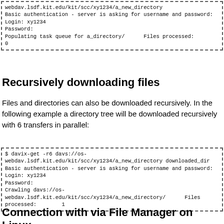[Figure (screenshot): Terminal/code box showing webdav upload command output with authentication prompt, login, password, populating task queue message, and files processed count of 0]
Recursively downloading files
Files and directories can also be downloaded recursively. In the following example a directory tree will be downloaded recursively with 6 transfers in parallel:
[Figure (screenshot): Terminal/code box showing davix-get -r6 command with davs URL, authentication prompt, login, password, crawling message, and files processed count of 1]
Connection with via File Manager on Linux